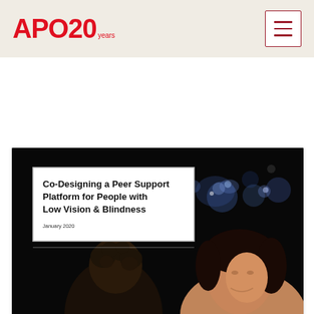APO 20 years
[Figure (screenshot): Screenshot of APO website showing a document card: 'Co-Designing a Peer Support Platform for People with Low Vision & Blindness, January 2020'. The card has a dark photographic background showing two people at night with bokeh lights, with a white title box overlaid.]